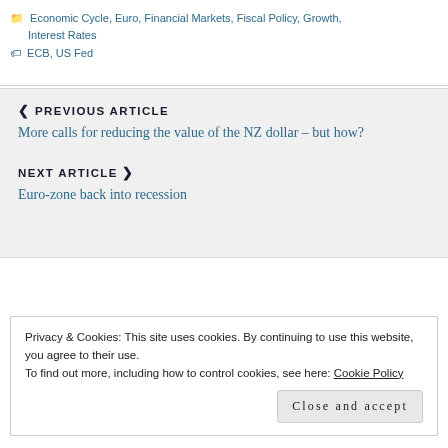Economic Cycle, Euro, Financial Markets, Fiscal Policy, Growth, Interest Rates
ECB, US Fed
PREVIOUS ARTICLE
More calls for reducing the value of the NZ dollar – but how?
NEXT ARTICLE
Euro-zone back into recession
Privacy & Cookies: This site uses cookies. By continuing to use this website, you agree to their use.
To find out more, including how to control cookies, see here: Cookie Policy
Close and accept